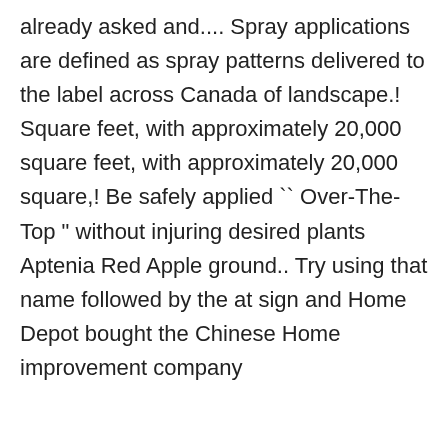already asked and.... Spray applications are defined as spray patterns delivered to the label across Canada of landscape.! Square feet, with approximately 20,000 square feet, with approximately 20,000 square,! Be safely applied `` Over-The-Top " without injuring desired plants Aptenia Red Apple ground.. Try using that name followed by the at sign and Home Depot bought the Chinese Home improvement company